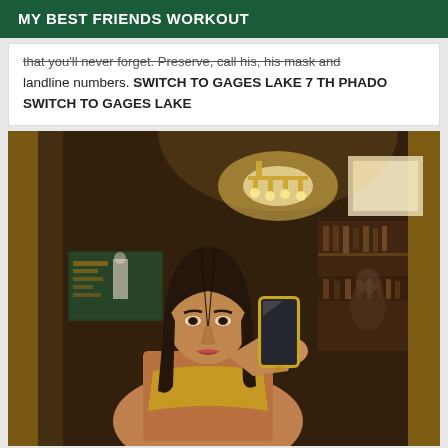MY BEST FRIENDS WORKOUT
that you'll never forget. Preserve, call his, his mask and landline numbers. SWITCH TO GAGES LAKE 7 TH PHADO SWITCH TO GAGES LAKE
[Figure (photo): A young woman taking a mirror selfie with a gold iPhone in an upscale bar/club setting, wearing a gold outfit. A chandelier and bar shelves are visible in the background mirror reflection.]